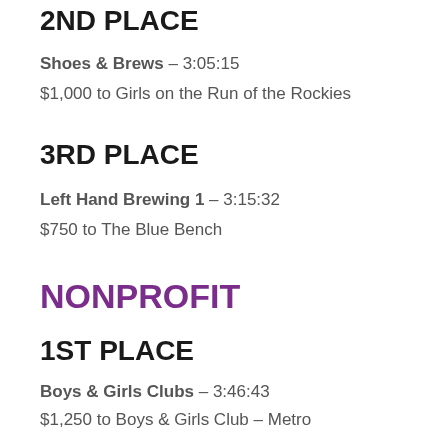2ND PLACE
Shoes & Brews – 3:05:15
$1,000 to Girls on the Run of the Rockies
3RD PLACE
Left Hand Brewing 1 – 3:15:32
$750 to The Blue Bench
NONPROFIT
1ST PLACE
Boys & Girls Clubs – 3:46:43
$1,250 to Boys & Girls Club – Metro Denver
2ND PLACE
Metro Caring – Will Run for Food